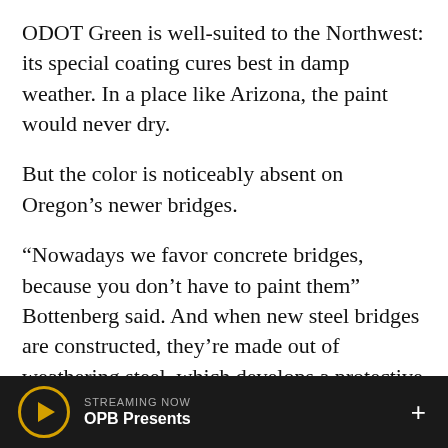ODOT Green is well-suited to the Northwest: its special coating cures best in damp weather. In a place like Arizona, the paint would never dry.
But the color is noticeably absent on Oregon's newer bridges.
“Nowadays we favor concrete bridges, because you don’t have to paint them” Bottenberg said. And when new steel bridges are constructed, they’re made out of weathering steel, which develops a protective red-rust coating and doesn’t need to be painted.
Paint, according to Bottenberg, is as much for maintenance as aesthetics. And if it’s not necessary, it’s not used.
STREAMING NOW
OPB Presents